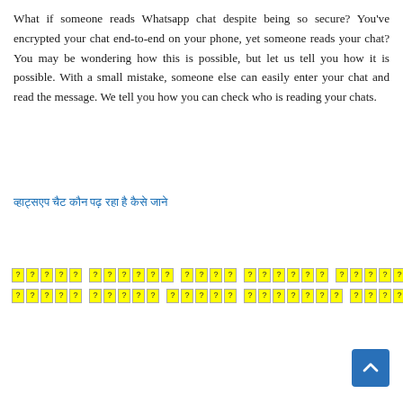What if someone reads Whatsapp chat despite being so secure? You've encrypted your chat end-to-end on your phone, yet someone reads your chat? You may be wondering how this is possible, but let us tell you how it is possible. With a small mistake, someone else can easily enter your chat and read the message. We tell you how you can check who is reading your chats.
व्हाट्सएप चैट कौन पढ़ रहा है कैसे जाने
[Figure (other): Two rows of yellow highlighted tag/label boxes with question mark characters, representing Hindi script tags or keyword labels with yellow background and border styling.]